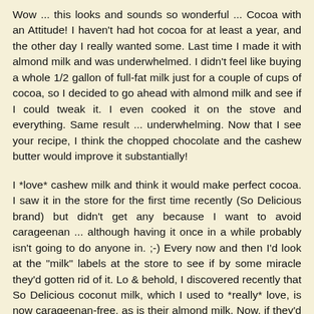Wow ... this looks and sounds so wonderful ... Cocoa with an Attitude! I haven't had hot cocoa for at least a year, and the other day I really wanted some. Last time I made it with almond milk and was underwhelmed. I didn't feel like buying a whole 1/2 gallon of full-fat milk just for a couple of cups of cocoa, so I decided to go ahead with almond milk and see if I could tweak it. I even cooked it on the stove and everything. Same result ... underwhelming. Now that I see your recipe, I think the chopped chocolate and the cashew butter would improve it substantially!
I *love* cashew milk and think it would make perfect cocoa. I saw it in the store for the first time recently (So Delicious brand) but didn't get any because I want to avoid carageenan ... although having it once in a while probably isn't going to do anyone in. ;-) Every now and then I'd look at the "milk" labels at the store to see if by some miracle they'd gotten rid of it. Lo & behold, I discovered recently that So Delicious coconut milk, which I used to *really* love, is now carageenan-free, as is their almond milk. Now, if they'd only do that to the cashew milk! Cashew milk is so easy to make. It's not gritty like homemade almond milk is,